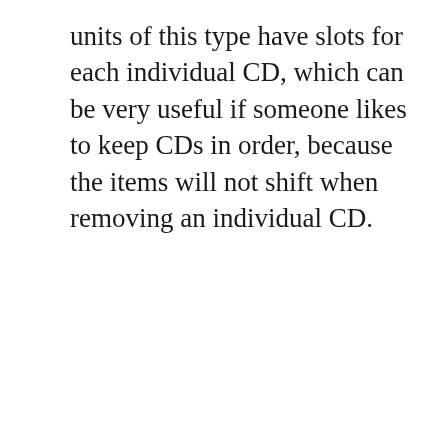units of this type have slots for each individual CD, which can be very useful if someone likes to keep CDs in order, because the items will not shift when removing an individual CD.